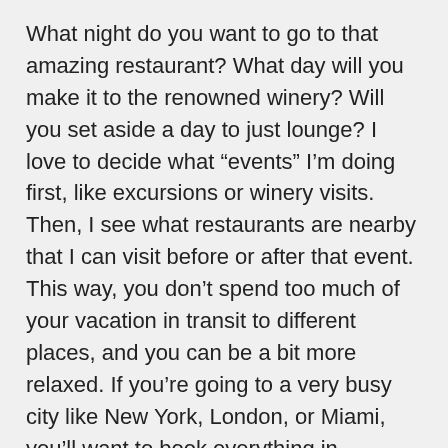What night do you want to go to that amazing restaurant? What day will you make it to the renowned winery? Will you set aside a day to just lounge? I love to decide what “events” I’m doing first, like excursions or winery visits. Then, I see what restaurants are nearby that I can visit before or after that event. This way, you don’t spend too much of your vacation in transit to different places, and you can be a bit more relaxed. If you’re going to a very busy city like New York, London, or Miami, you’ll want to book everything in advance after you’ve finished sketching out your trip. But if you’re going somewhere relaxed, like Maui or Mendoza, you can be a little more lax with actually booking.
5. BUILD IN OPTIONS. Sometimes, you don’t want to book everything in advance. Maybe you’re not sure how much downtime you’ll want, or if you’ll need to